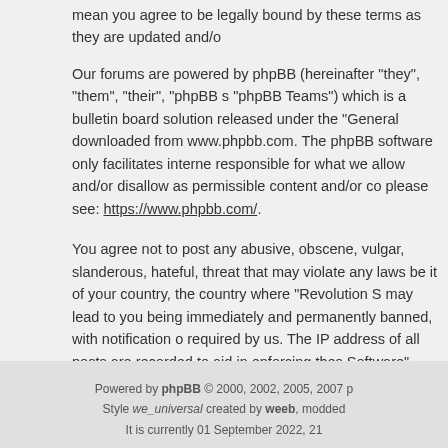mean you agree to be legally bound by these terms as they are updated and/o
Our forums are powered by phpBB (hereinafter "they", "them", "their", "phpBB s "phpBB Teams") which is a bulletin board solution released under the "General downloaded from www.phpbb.com. The phpBB software only facilitates interne responsible for what we allow and/or disallow as permissible content and/or co please see: https://www.phpbb.com/.
You agree not to post any abusive, obscene, vulgar, slanderous, hateful, threat that may violate any laws be it of your country, the country where "Revolution S may lead to you being immediately and permanently banned, with notification o required by us. The IP address of all posts are recorded to aid in enforcing thes Software" have the right to remove, edit, move or close any topic at any time sh information you have entered to being stored in a database. While this informat your consent, neither "Revolution Software" nor phpBB shall be held responsib data being compromised.
Back to login screen
Powered by phpBB © 2000, 2002, 2005, 2007 p Style we_universal created by weeb, modded It is currently 01 September 2022, 21